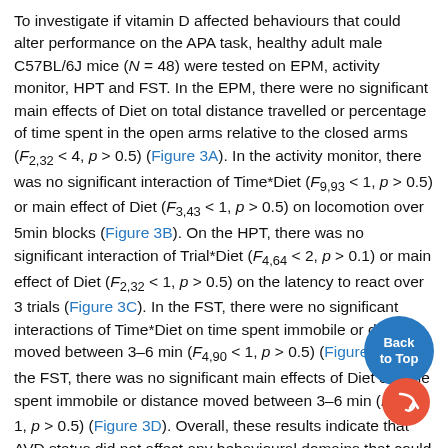To investigate if vitamin D affected behaviours that could alter performance on the APA task, healthy adult male C57BL/6J mice (N = 48) were tested on EPM, activity monitor, HPT and FST. In the EPM, there were no significant main effects of Diet on total distance travelled or percentage of time spent in the open arms relative to the closed arms (F2,32 < 4, p > 0.5) (Figure 3A). In the activity monitor, there was no significant interaction of Time*Diet (F9,93 < 1, p > 0.5) or main effect of Diet (F3,43 < 1, p > 0.5) on locomotion over 5min blocks (Figure 3B). On the HPT, there was no significant interaction of Trial*Diet (F4,64 < 2, p > 0.1) or main effect of Diet (F2,32 < 1, p > 0.5) on the latency to react over 3 trials (Figure 3C). In the FST, there were no significant interactions of Time*Diet on time spent immobile or distance moved between 3–6 min (F4,90 < 1, p > 0.5) (Figure 3D). In the FST, there was no significant main effects of Diet on time spent immobile or distance moved between 3–6 min (F2,45 < 1, p > 0.5) (Figure 3D). Overall, these results indicate that AVD status did not affect any behavioural domains that could also affect performance on APA. There were no significant correlations between individual 25(OH)D3 levels and any behavioural measure (data not shown).